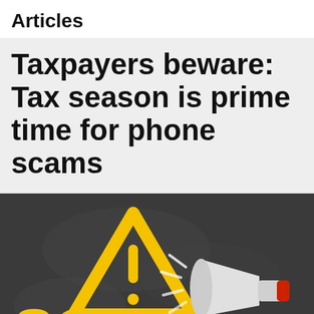Articles
Taxpayers beware: Tax season is prime time for phone scams
[Figure (photo): Dark chalkboard background with a yellow warning triangle sign containing an exclamation mark, the word SCAM written in large yellow letters below it, and a hand holding a white and red megaphone on the right side.]